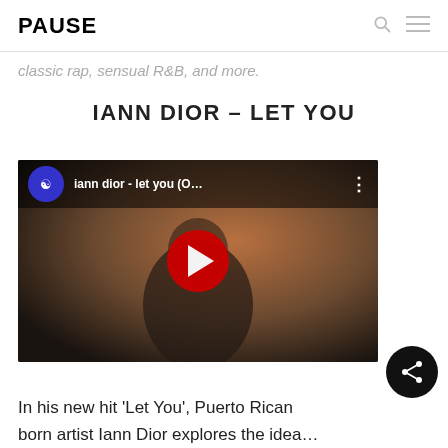PAUSE
classic rap, sensual R&B, and more.
IANN DIOR – LET YOU
[Figure (screenshot): YouTube embedded video player showing 'iann dior - let you (O...' with a red play button in the center, channel avatar on left, and three-dot menu on right.]
In his new hit 'Let You', Puerto Rican born artist Iann Dior explores the idea…